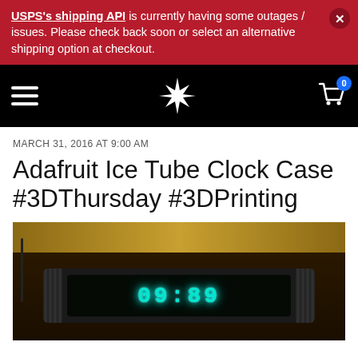USPS's shipping API is currently having some outages / issues. Please check back soon or select an alternative shipping option at checkout.
[Figure (screenshot): E-commerce site navigation bar with hamburger menu on left, star/flower logo in center, shopping cart icon with badge showing '0' on right, on black background]
MARCH 31, 2016 AT 9:00 AM
Adafruit Ice Tube Clock Case #3DThursday #3DPrinting
[Figure (photo): Close-up photo of an ice tube clock with glowing blue-green VFD tube display showing digits, housed in a dark case with ridged ends, sitting on a wooden surface]